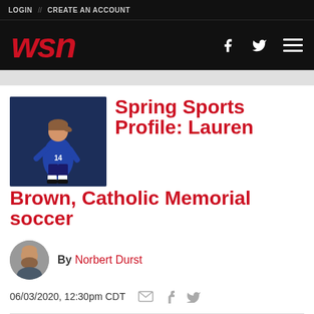LOGIN // CREATE AN ACCOUNT
[Figure (logo): WSN logo in red italic bold text on black background with Facebook, Twitter, and menu icons]
[Figure (photo): Soccer player in blue uniform on dark background]
Spring Sports Profile: Lauren Brown, Catholic Memorial soccer
By Norbert Durst
06/03/2020, 12:30pm CDT